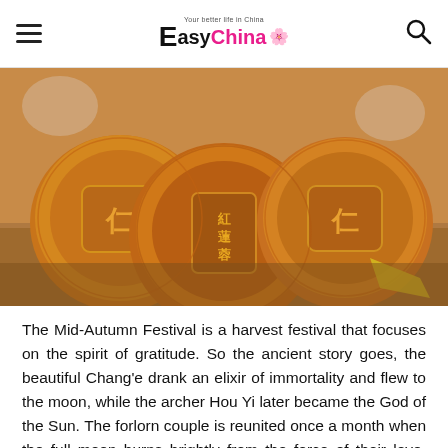EasyChina — Your better life in China
[Figure (photo): Three golden mooncakes with Chinese characters pressed into the surface, arranged on a wooden board with tea cups in the background]
The Mid-Autumn Festival is a harvest festival that focuses on the spirit of gratitude. So the ancient story goes, the beautiful Chang'e drank an elixir of immortality and flew to the moon, while the archer Hou Yi later became the God of the Sun. The forlorn couple is reunited once a month when the full moon burns brightly from the force of their love. Today, the Mid-Autumn Festival is celebrated to mark the end of the harvest